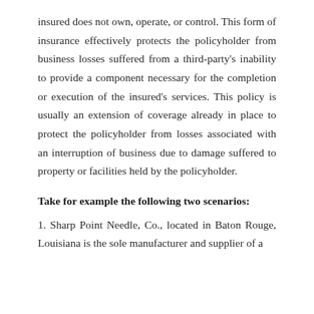insured does not own, operate, or control. This form of insurance effectively protects the policyholder from business losses suffered from a third-party's inability to provide a component necessary for the completion or execution of the insured's services. This policy is usually an extension of coverage already in place to protect the policyholder from losses associated with an interruption of business due to damage suffered to property or facilities held by the policyholder.
Take for example the following two scenarios:
1. Sharp Point Needle, Co., located in Baton Rouge, Louisiana is the sole manufacturer and supplier of a